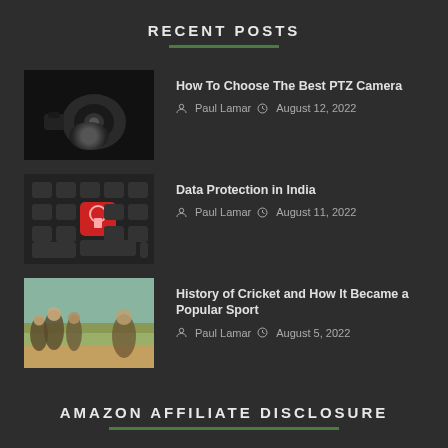RECENT POSTS
How To Choose The Best PTZ Camera | Paul Lamar | August 12, 2022
Data Protection in India | Paul Lamar | August 11, 2022
History of Cricket and How It Became a Popular Sport | Paul Lamar | August 5, 2022
AMAZON AFFILIATE DISCLOSURE